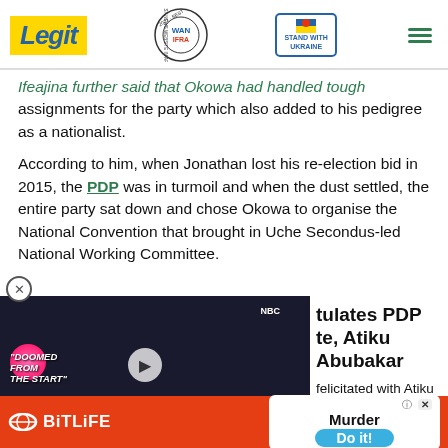Legit | WAN-IFRA 2021 Best News Website in Africa | Stand with Ukraine
Ifeajina further said that Okowa had handled tough assignments for the party which also added to his pedigree as a nationalist.
According to him, when Jonathan lost his re-election bid in 2015, the PDP was in turmoil and when the dust settled, the entire party sat down and chose Okowa to organise the National Convention that brought in Uche Secondus-led National Working Committee.
...tulates PDP ...te, Atiku Abubakar
...felicitated with Atiku over his ...PDP special national convention ...y Abuja